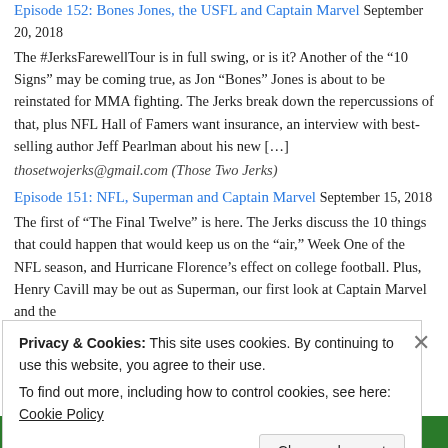Episode 152: Bones Jones, the USFL and Captain Marvel September 20, 2018
The #JerksFarewellTour is in full swing, or is it? Another of the "10 Signs" may be coming true, as Jon "Bones" Jones is about to be reinstated for MMA fighting. The Jerks break down the repercussions of that, plus NFL Hall of Famers want insurance, an interview with best-selling author Jeff Pearlman about his new […]
thosetwojerks@gmail.com (Those Two Jerks)
Episode 151: NFL, Superman and Captain Marvel September 15, 2018
The first of "The Final Twelve" is here. The Jerks discuss the 10 things that could happen that would keep us on the "air," Week One of the NFL season, and Hurricane Florence's effect on college football. Plus, Henry Cavill may be out as Superman, our first look at Captain Marvel and the
Privacy & Cookies: This site uses cookies. By continuing to use this website, you agree to their use. To find out more, including how to control cookies, see here: Cookie Policy
Close and accept